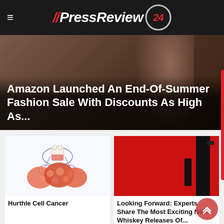PressReview 24
[Figure (photo): Hero image with woman partially visible, overlay text about Amazon fashion sale]
Amazon Launched An End-Of-Summer Fashion Sale With Discounts As High As...
[Figure (illustration): Medical illustration of thyroid gland with teeth/oral cavity]
Hurthle Cell Cancer
[Figure (photo): Red background with dark whiskey bottle silhouette]
Looking Forward: Experts Share The Most Exciting New Whiskey Releases Of...
[Figure (photo): Skincare products on teal and pink background]
[Figure (photo): Jewelry item on gold/tan background]